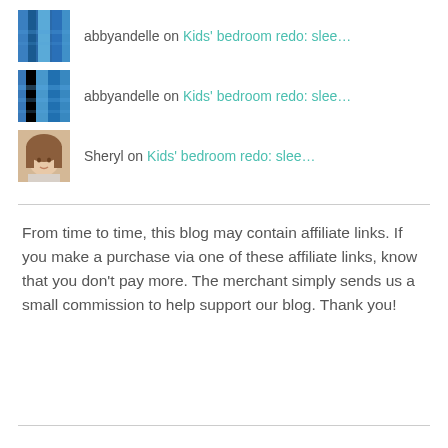abbyandelle on Kids' bedroom redo: slee…
abbyandelle on Kids' bedroom redo: slee…
Sheryl on Kids' bedroom redo: slee…
From time to time, this blog may contain affiliate links. If you make a purchase via one of these affiliate links, know that you don't pay more. The merchant simply sends us a small commission to help support our blog. Thank you!